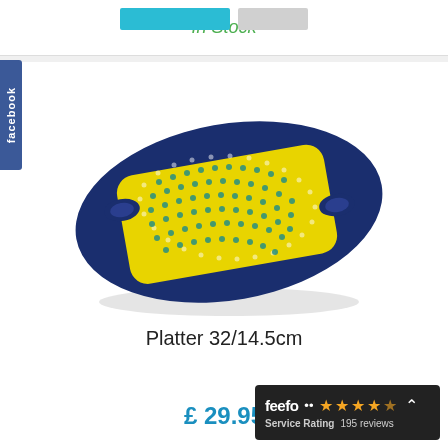In Stock
[Figure (photo): A rectangular Polish pottery platter with a yellow interior decorated with a grid of small blue/teal flower motifs, and a dark blue border with white dot pattern. The platter has small handles on each short end and is photographed at an angle on a white background.]
Platter 32/14.5cm
£ 29.95
[Figure (logo): Feefo service rating badge showing 4 out of 5 stars and 195 reviews, dark background with white text and orange stars.]